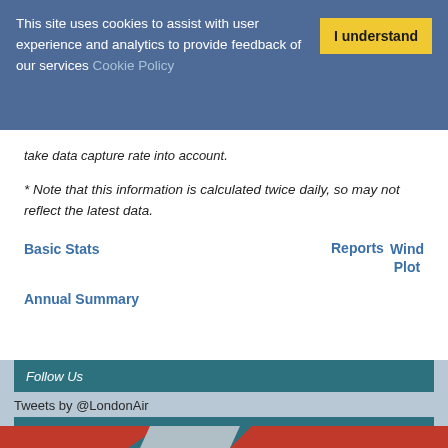This site uses cookies to assist with user experience and analytics to provide feedback of our services Cookie Policy
I understand
take data capture rate into account.
* Note that this information is calculated twice daily, so may not reflect the latest data.
Basic Stats
Reports
Wind Plot
Annual Summary
Follow Us
Tweets by @LondonAir
Our newsletter